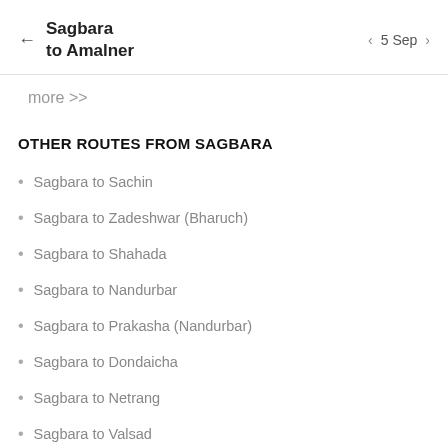Sagbara to Amalner | 5 Sep
more >>
OTHER ROUTES FROM SAGBARA
Sagbara to Sachin
Sagbara to Zadeshwar (Bharuch)
Sagbara to Shahada
Sagbara to Nandurbar
Sagbara to Prakasha (Nandurbar)
Sagbara to Dondaicha
Sagbara to Netrang
Sagbara to Valsad
Sagbara to Nizar
Sagbara to Salamba